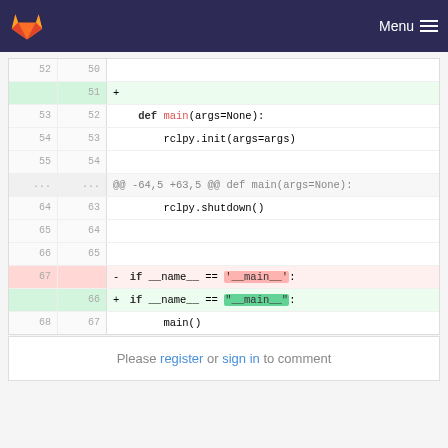GitLab — Menu
[Figure (screenshot): Code diff view showing Python file changes. Lines 52-55 show context, then hunk header @@ -64,5 +63,5 @@ def main(args=None):, lines 64-66 show context, line 67 removed (- if __name__ == '__main__':), line 66 added (+ if __name__ == "__main__":), line 68/67 shows main()]
Please register or sign in to comment